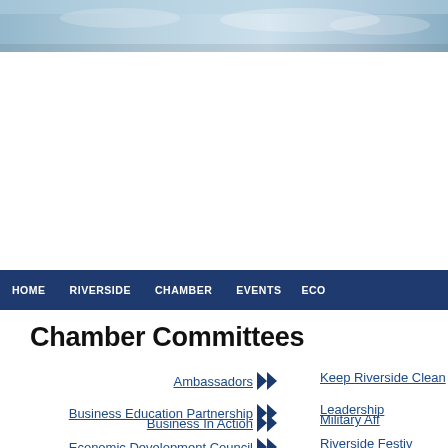[Figure (photo): Header banner image with sky and outdoor scene]
HOME   RIVERSIDE   CHAMBER   EVENTS   ECO...
Chamber Committees
Ambassadors
Keep Riverside Clean
Business Education Partnership
Leadership
Business In Action
Military Aff...
Economic Development Council
Riverside Festiv...